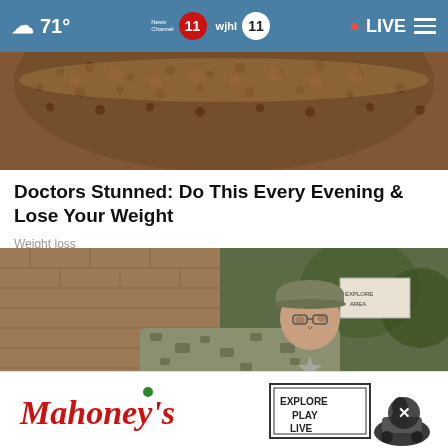71° News Channel 11 wjhl 11 LIVE
[Figure (photo): Close-up photo of coffee beans or granola-like food items in a bowl, brown tones]
Doctors Stunned: Do This Every Evening & Lose Your Weight
Weight loss
[Figure (photo): Military soldier in camouflage uniform and cap peering around a brick wall]
[Figure (logo): Mahoney's advertisement banner with EXPLORE PLAY LIVE text and a figure on a snowmobile]